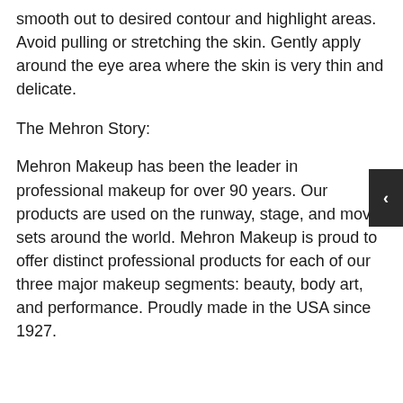smooth out to desired contour and highlight areas. Avoid pulling or stretching the skin. Gently apply around the eye area where the skin is very thin and delicate.
The Mehron Story:
Mehron Makeup has been the leader in professional makeup for over 90 years. Our products are used on the runway, stage, and movie sets around the world. Mehron Makeup is proud to offer distinct professional products for each of our three major makeup segments: beauty, body art, and performance. Proudly made in the USA since 1927.